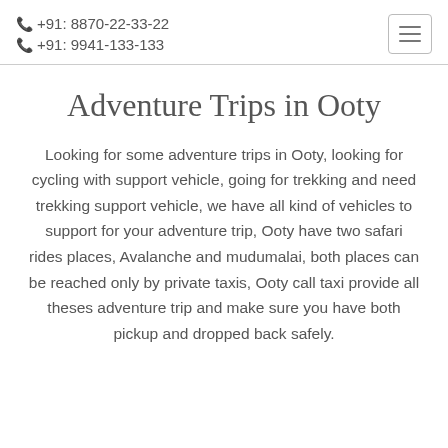+91: 8870-22-33-22
+91: 9941-133-133
Adventure Trips in Ooty
Looking for some adventure trips in Ooty, looking for cycling with support vehicle, going for trekking and need trekking support vehicle, we have all kind of vehicles to support for your adventure trip, Ooty have two safari rides places, Avalanche and mudumalai, both places can be reached only by private taxis, Ooty call taxi provide all theses adventure trip and make sure you have both pickup and dropped back safely.